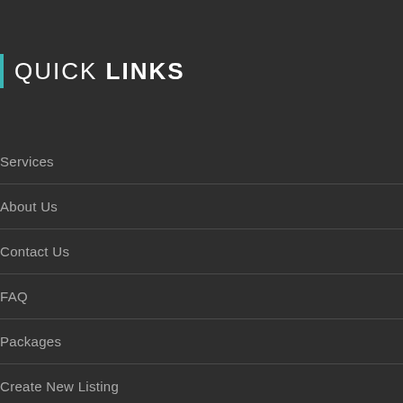QUICK LINKS
Services
About Us
Contact Us
FAQ
Packages
Create New Listing
Register